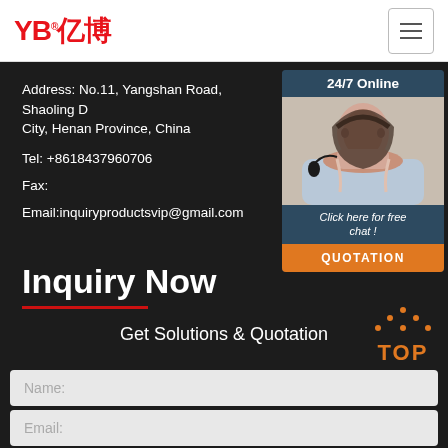[Figure (logo): YB亿博 logo in red with registered trademark symbol]
Address: No.11, Yangshan Road, Shaoling District, City, Henan Province, China
Tel: +8618437960706
Fax:
Email:inquiryproductsvip@gmail.com
[Figure (screenshot): 24/7 Online chat widget with customer service photo, 'Click here for free chat!' text and QUOTATION button]
Inquiry Now
Get Solutions & Quotation
Name:
Email: